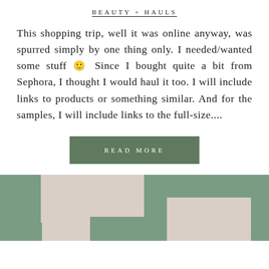BEAUTY + HAULS
This shopping trip, well it was online anyway, was spurred simply by one thing only. I needed/wanted some stuff 🙂 Since I bought quite a bit from Sephora, I thought I would haul it too. I will include links to products or something similar. And for the samples, I will include links to the full-size....
READ MORE
[Figure (photo): Close-up photo of a fabric or textile with a geometric pattern in sage green and light pink/beige tones, appearing to be a rug or blanket with rectangular shapes.]